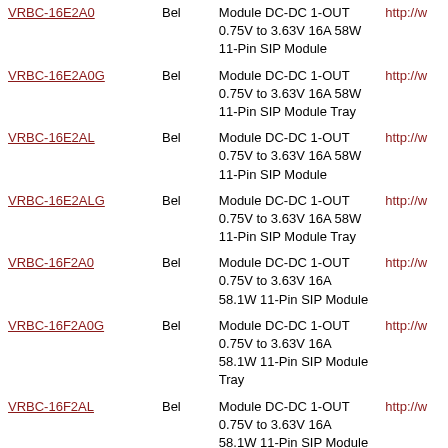| Part | Brand | Description | URL |
| --- | --- | --- | --- |
| VRBC-16E2A0 | Bel | Module DC-DC 1-OUT 0.75V to 3.63V 16A 58W 11-Pin SIP Module | http://w |
| VRBC-16E2A0G | Bel | Module DC-DC 1-OUT 0.75V to 3.63V 16A 58W 11-Pin SIP Module Tray | http://w |
| VRBC-16E2AL | Bel | Module DC-DC 1-OUT 0.75V to 3.63V 16A 58W 11-Pin SIP Module | http://w |
| VRBC-16E2ALG | Bel | Module DC-DC 1-OUT 0.75V to 3.63V 16A 58W 11-Pin SIP Module Tray | http://w |
| VRBC-16F2A0 | Bel | Module DC-DC 1-OUT 0.75V to 3.63V 16A 58.1W 11-Pin SIP Module | http://w |
| VRBC-16F2A0G | Bel | Module DC-DC 1-OUT 0.75V to 3.63V 16A 58.1W 11-Pin SIP Module Tray | http://w |
| VRBC-16F2AL | Bel | Module DC-DC 1-OUT 0.75V to 3.63V 16A 58.1W 11-Pin SIP Module | http://w |
| VRBC-16F2ALG | Bel | Module DC-DC 1-OUT 0.75V to 3.63V 16A 58.1W 11-Pin SIP Module Tray | http://w |